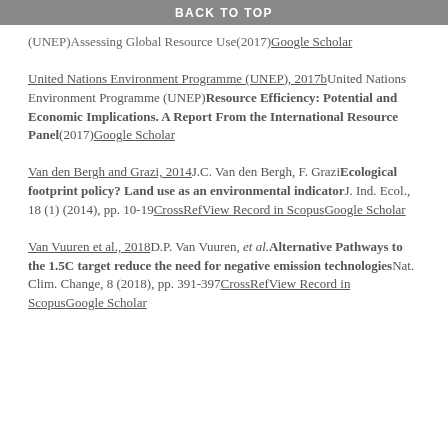BACK TO TOP
(UNEP)Assessing Global Resource Use(2017)Google Scholar
United Nations Environment Programme (UNEP), 2017b United Nations Environment Programme (UNEP) Resource Efficiency: Potential and Economic Implications. A Report From the International Resource Panel (2017) Google Scholar
Van den Bergh and Grazi, 2014 J.C. Van den Bergh, F. Grazi Ecological footprint policy? Land use as an environmental indicator J. Ind. Ecol., 18 (1) (2014), pp. 10-19 CrossRef View Record in Scopus Google Scholar
Van Vuuren et al., 2018 D.P. Van Vuuren, et al. Alternative Pathways to the 1.5C target reduce the need for negative emission technologies Nat. Clim. Change, 8 (2018), pp. 391-397 CrossRef View Record in Scopus Google Scholar